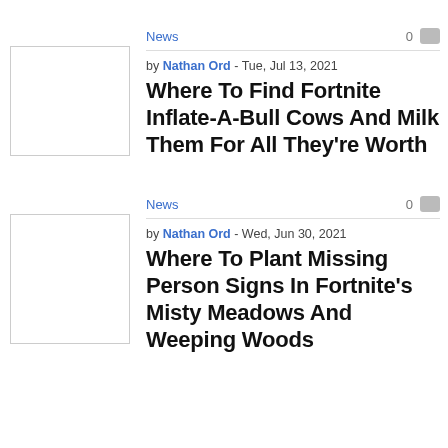News
0
[Figure (photo): Thumbnail image placeholder for article 1]
by Nathan Ord - Tue, Jul 13, 2021
Where To Find Fortnite Inflate-A-Bull Cows And Milk Them For All They're Worth
News
0
[Figure (photo): Thumbnail image placeholder for article 2]
by Nathan Ord - Wed, Jun 30, 2021
Where To Plant Missing Person Signs In Fortnite's Misty Meadows And Weeping Woods